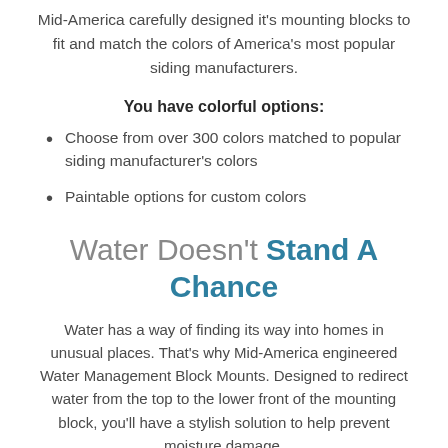Mid-America carefully designed it's mounting blocks to fit and match the colors of America's most popular siding manufacturers.
You have colorful options:
Choose from over 300 colors matched to popular siding manufacturer's colors
Paintable options for custom colors
Water Doesn't Stand A Chance
Water has a way of finding its way into homes in unusual places. That's why Mid-America engineered Water Management Block Mounts. Designed to redirect water from the top to the lower front of the mounting block, you'll have a stylish solution to help prevent moisture damage.